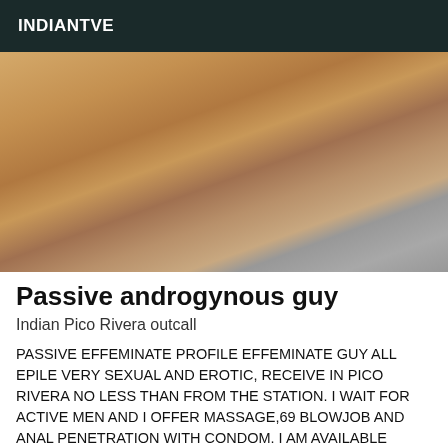INDIANTVE
[Figure (photo): Close-up photo of a person's lower body]
Passive androgynous guy
Indian Pico Rivera outcall
PASSIVE EFFEMINATE PROFILE EFFEMINATE GUY ALL EPILE VERY SEXUAL AND EROTIC, RECEIVE IN PICO RIVERA NO LESS THAN FROM THE STATION. I WAIT FOR ACTIVE MEN AND I OFFER MASSAGE,69 BLOWJOB AND ANAL PENETRATION WITH CONDOM. I AM AVAILABLE DURING THE DAY AND IN